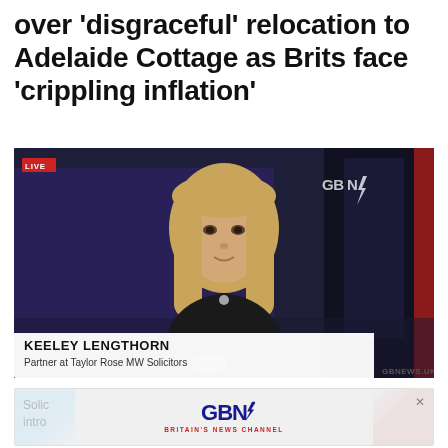over 'disgraceful' relocation to Adelaide Cottage as Brits face 'crippling inflation'
[Figure (screenshot): GB News TV broadcast screenshot showing a blonde woman in a black top being interviewed. Lower third identifies her as 'KEELEY LENGTHORN, Partner at Taylor Rose MW Solicitors'. A red LIVE badge is visible top-left. GB News watermark top-right. GBNEWS.UK logo bottom-right of lower third.]
[Figure (logo): GB News advertisement banner with 'GBN' logo in navy blue with red lightning bolt, subtitle 'BRITAIN'S NEWS CHANNEL' in red, flanked by light blue diagonal shape on left and red diagonal shape on right. A close (x) button top-right.]